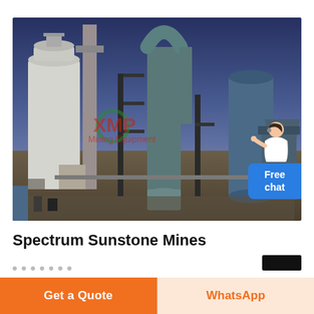[Figure (photo): Industrial mining/milling facility with large white cylindrical silo on left, tall chimney, blue central tower with curved pipe, blue tanks on right, various scaffolding and structures. XMP Mining Equipment watermark visible. Blue sky background. Free chat button with agent figure in top-right corner of photo.]
Spectrum Sunstone Mines
Get a Quote
WhatsApp